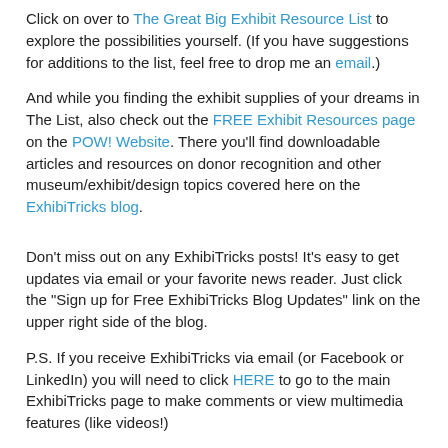Click on over to The Great Big Exhibit Resource List to explore the possibilities yourself.  (If you have suggestions for additions to the list, feel free to drop me an email.)
And while you finding the exhibit supplies of your dreams in The List, also check out the FREE Exhibit Resources page on the POW! Website.  There you'll find downloadable articles and resources on donor recognition and other museum/exhibit/design topics covered here on the ExhibiTricks blog.
Don't miss out on any ExhibiTricks posts! It's easy to get updates via email or your favorite news reader. Just click the "Sign up for Free ExhibiTricks Blog Updates" link on the upper right side of the blog.
P.S. If you receive ExhibiTricks via email (or Facebook or LinkedIn) you will need to click HERE to go to the main ExhibiTricks page to make comments or view multimedia features (like videos!)